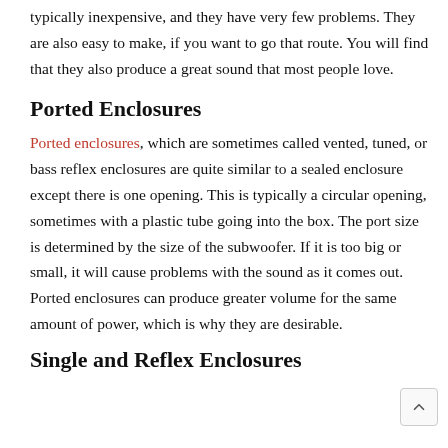typically inexpensive, and they have very few problems. They are also easy to make, if you want to go that route. You will find that they also produce a great sound that most people love.
Ported Enclosures
Ported enclosures, which are sometimes called vented, tuned, or bass reflex enclosures are quite similar to a sealed enclosure except there is one opening. This is typically a circular opening, sometimes with a plastic tube going into the box. The port size is determined by the size of the subwoofer. If it is too big or small, it will cause problems with the sound as it comes out. Ported enclosures can produce greater volume for the same amount of power, which is why they are desirable.
Single and Reflex Enclosures